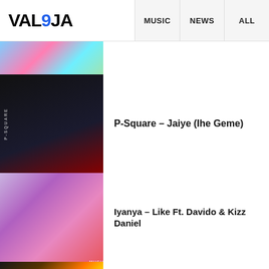VAL9JA — MUSIC | NEWS | ALL
[Figure (photo): Partial thumbnail of a colorful music image at the top of the list]
P-Square – Jaiye (Ihe Geme)
[Figure (photo): P-Square Jaiye (Ihe Geme) album artwork - dark background with artist in dark outfit]
Iyanya – Like Ft. Davido & Kizz Daniel
[Figure (photo): Iyanya Like Ft. Davido & Kizz Daniel artwork - purple/pink background with artists]
Kizz Daniel – Buga Ft Tekno
[Figure (photo): Kizz Daniel Buga Ft Tekno artwork - dark background with bright colors and BUGA text]
Asake – Omo Ope ft Olamide
[Figure (photo): Asake Omo Ope ft Olamide artwork - red background with artist]
Black Sherif – Kwaku The Traveller
[Figure (photo): Black Sherif Kwaku The Traveller artwork - orange/red background]